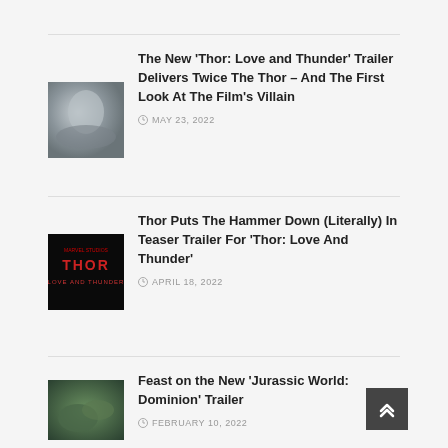[Figure (photo): Thumbnail image for Thor Love and Thunder article - misty/stormy scene]
The New 'Thor: Love and Thunder' Trailer Delivers Twice The Thor – And The First Look At The Film's Villain
MAY 23, 2022
[Figure (photo): Thor Love and Thunder logo on black background]
Thor Puts The Hammer Down (Literally) In Teaser Trailer For 'Thor: Love And Thunder'
APRIL 18, 2022
[Figure (photo): Thumbnail image for Jurassic World Dominion article]
Feast on the New 'Jurassic World: Dominion' Trailer
FEBRUARY 10, 2022